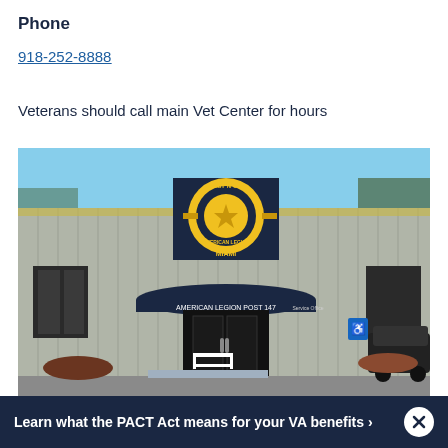Phone
918-252-8888
Veterans should call main Vet Center for hours
[Figure (photo): Exterior photo of American Legion Post 147 in Miami, a metal building with a large circular Post No. 147 American Legion Miami sign above the entrance. The entrance has a dark blue awning with 'American Legion Post 147' text. A white bench sits near the door, and a vehicle is parked to the right.]
Learn what the PACT Act means for your VA benefits >